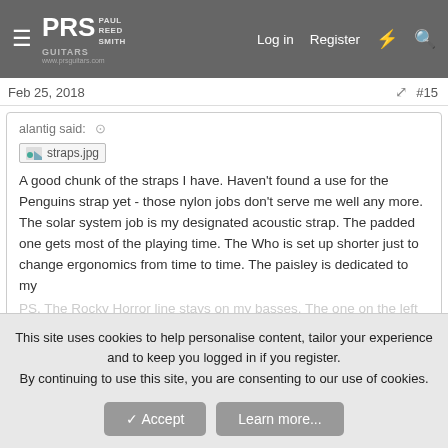PRS Paul Reed Smith Guitars www.prsguitars.com | Log in | Register
Feb 25, 2018 #15
alantig said:
[Figure (screenshot): Broken image placeholder labeled straps.jpg]
A good chunk of the straps I have. Haven't found a use for the Penguins strap yet - those nylon jobs don't serve me well any more. The solar system job is my designated acoustic strap. The padded one gets most of the playing time. The Who is set up shorter just to change ergonomics from time to time. The paisley is dedicated to my PS. The Rocky Horror line stays on my basses. The one on the left
Click to expand...
I think Shawn would really like the 2nd one from the left
Maxime Bousquet, DreamTheaterRules, alantig and 1 other person
This site uses cookies to help personalise content, tailor your experience and to keep you logged in if you register.
By continuing to use this site, you are consenting to our use of cookies.